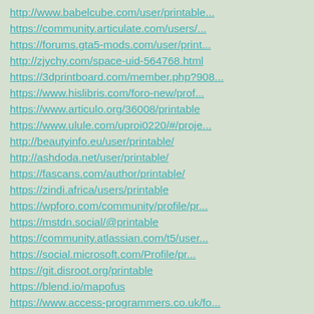http://www.babelcube.com/user/printable...
https://community.articulate.com/users/...
https://forums.gta5-mods.com/user/print...
http://zjychy.com/space-uid-564768.html
https://3dprintboard.com/member.php?908...
https://www.hislibris.com/foro-new/prof...
https://www.articulo.org/36008/printable
https://www.ulule.com/uproi0220/#/proje...
http://beautyinfo.eu/user/printable/
http://ashdoda.net/user/printable/
https://fascans.com/author/printable/
https://zindi.africa/users/printable
https://wpforo.com/community/profile/pr...
https://mstdn.social/@printable
https://community.atlassian.com/t5/user...
https://social.microsoft.com/Profile/pr...
https://git.disroot.org/printable
https://blend.io/mapofus
https://www.access-programmers.co.uk/fo...
http://ksjy88.com/home.php?mod=space&am...
https://www.quizz.biz/annuaire/profil-p...
https://uniquethis.com/profile/229263
https://ceeivalencia.emprenemjunts.es/?...